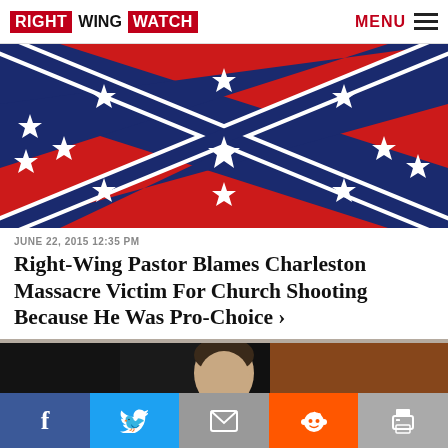RIGHT WING WATCH | MENU
[Figure (photo): Confederate battle flag on a white background]
JUNE 22, 2015 12:35 PM
Right-Wing Pastor Blames Charleston Massacre Victim For Church Shooting Because He Was Pro-Choice ›
[Figure (photo): Man in a suit speaking at a podium with a reddish background]
Facebook | Twitter | Email | Reddit | Print